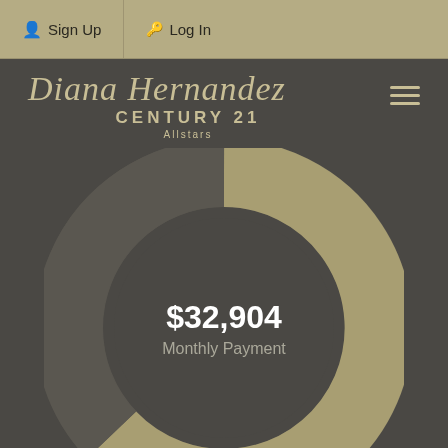Sign Up  Log In
[Figure (logo): Diana Hernandez Century 21 Allstars logo in gold italic script with Century 21 Allstars text below]
[Figure (donut-chart): Large donut chart in gold/khaki color showing monthly payment of $32,904 with center label]
$32,904 Monthly Payment